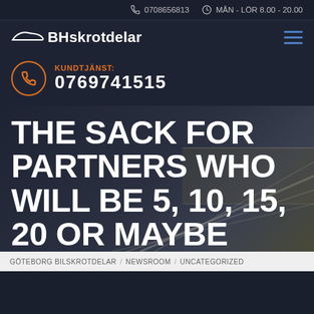0708656813   MÅN - LÖR 8.00 - 20.00
[Figure (logo): BH Skrotdelar logo with car silhouette icon and hamburger menu icon]
KUNDTJÄNST: 0769741515
THE SACK FOR PARTNERS WHO WILL BE 5, 10, 15, 20 OR MAYBE MORE YEARS BEYOND THE
GÖTEBORG BILSKROTDELAR / NEWSROOM / UNCATEGORIZED